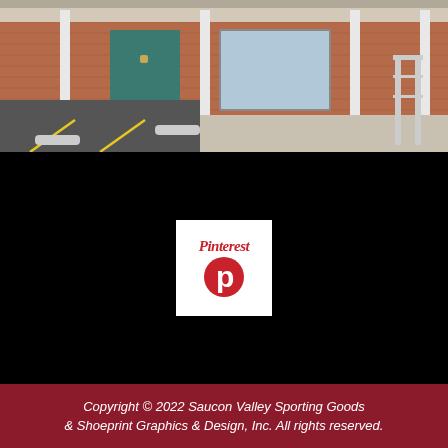[Figure (photo): Exterior photo of a brick storefront with white columns, a teal/green door, parking lot with yellow lines and concrete parking stops, and metal railings visible on the right side.]
[Figure (logo): Pinterest logo: white background with the word 'Pinterest' in red italic script and the Pinterest P-pin circular logo icon below it in red.]
Copyright © 2022 Saucon Valley Sporting Goods & Shoeprint Graphics & Design, Inc. All rights reserved.